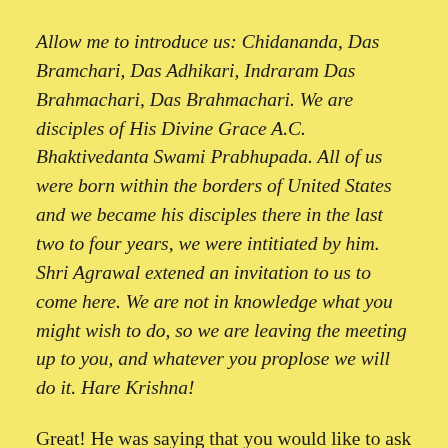Allow me to introduce us: Chidananda, Das Bramchari, Das Adhikari, Indraram Das Brahmachari, Das Brahmachari. We are disciples of His Divine Grace A.C. Bhaktivedanta Swami Prabhupada. All of us were born within the borders of United States and we became his disciples there in the last two to four years, we were intitiated by him. Shri Agrawal extened an invitation to us to come here. We are not in knowledge what you might wish to do, so we are leaving the meeting up to you, and whatever you proplose we will do it. Hare Krishna!
Great! He was saying that you would like to ask something, so if you have any questions . . .